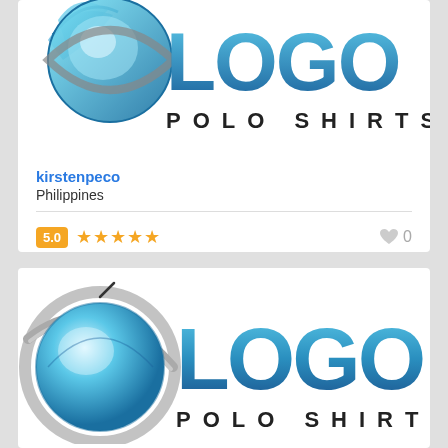[Figure (logo): Logo Polo Shirts brand logo - partially cropped at top, showing blue globe-like icon with swoosh and text LOGO POLO SHIRTS]
kirstenpeco
Philippines
5.0 ★★★★★  0
[Figure (logo): Logo Polo Shirts brand logo - full version, showing blue 3D globe with gray swoosh ring and text LOGO POLO SHIRTS]